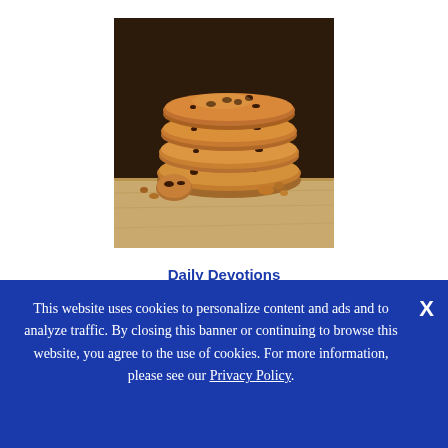[Figure (photo): A stack of chocolate chip cookies on a wooden surface, with crumbled cookie pieces around them, dark background with warm tones.]
Daily Devotions
The Ministry of the Cookie Lady
This website uses cookies to personalize content and ads and to analyze traffic. By closing this banner or continuing to browse this website, you agree to the use of cookies. For more information, please see our Privacy Policy.